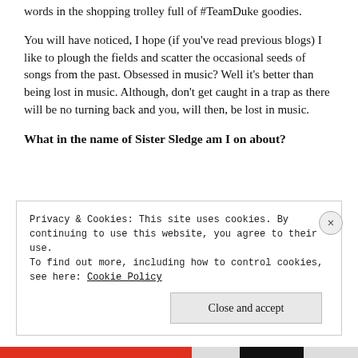words in the shopping trolley full of #TeamDuke goodies.
You will have noticed, I hope (if you've read previous blogs) I like to plough the fields and scatter the occasional seeds of songs from the past. Obsessed in music? Well it's better than being lost in music. Although, don't get caught in a trap as there will be no turning back and you, will then, be lost in music.
What in the name of Sister Sledge am I on about?
Privacy & Cookies: This site uses cookies. By continuing to use this website, you agree to their use.
To find out more, including how to control cookies, see here: Cookie Policy